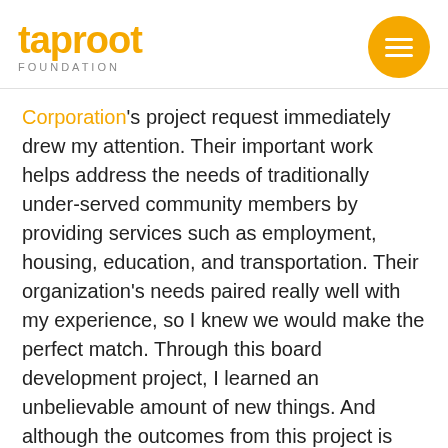taproot FOUNDATION
Corporation's project request immediately drew my attention. Their important work helps address the needs of traditionally under-served community members by providing services such as employment, housing, education, and transportation. Their organization's needs paired really well with my experience, so I knew we would make the perfect match. Through this board development project, I learned an unbelievable amount of new things. And although the outcomes from this project is still under development, I will forever value the lessons I learned through giving back pro bono.
Similarly, working with Building Families Together on a